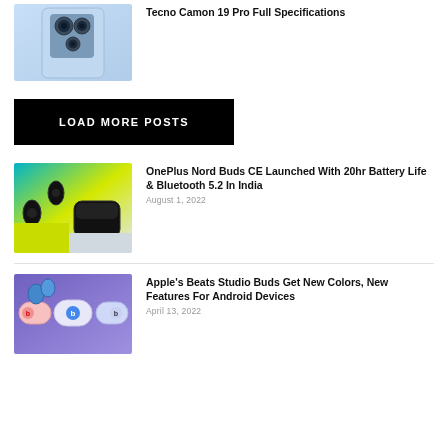[Figure (photo): Tecno Camon 19 Pro phone camera close-up on blue/silver background]
Tecno Camon 19 Pro Full Specifications
LOAD MORE POSTS
[Figure (photo): OnePlus Nord Buds CE wireless earbuds with case on colorful background]
OnePlus Nord Buds CE Launched With 20hr Battery Life & Bluetooth 5.2 In India
August 1, 2022
[Figure (photo): Apple Beats Studio Buds in multiple colors with charging case on purple background]
Apple's Beats Studio Buds Get New Colors, New Features For Android Devices
April 13, 2022